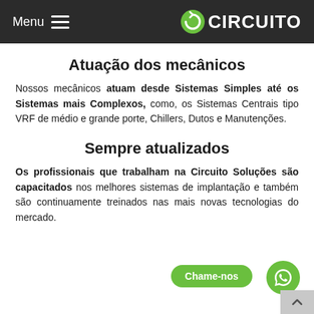Menu  CIRCUITO
Atuação dos mecânicos
Nossos mecânicos atuam desde Sistemas Simples até os Sistemas mais Complexos, como, os Sistemas Centrais tipo VRF de médio e grande porte, Chillers, Dutos e Manutenções.
Sempre atualizados
Os profissionais que trabalham na Circuito Soluções são capacitados nos melhores sistemas de implantação e também são continuamente treinados nas mais novas tecnologias do mercado.